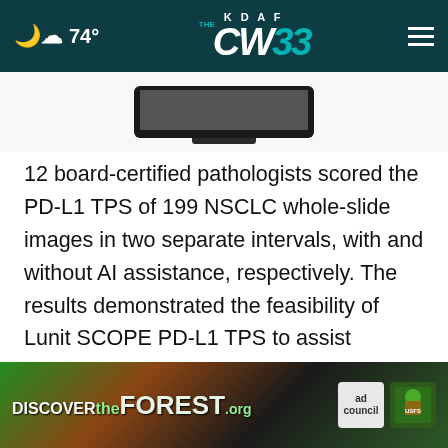KDAF CW33 — 74° weather
[Figure (screenshot): Bottom portion of a monitor/TV screen graphic]
12 board-certified pathologists scored the PD-L1 TPS of 199 NSCLC whole-slide images in two separate intervals, with and without AI assistance, respectively. The results demonstrated the feasibility of Lunit SCOPE PD-L1 TPS to assist pathologists' evaluation: with AI assistance, the overall accuracy of pathologists' TPS s[cores was improved], while the mean reading time was reduced by 50%.
[Figure (screenshot): DISCOVERtheFOREST.org advertisement banner with ad council and US Forest Service logos]